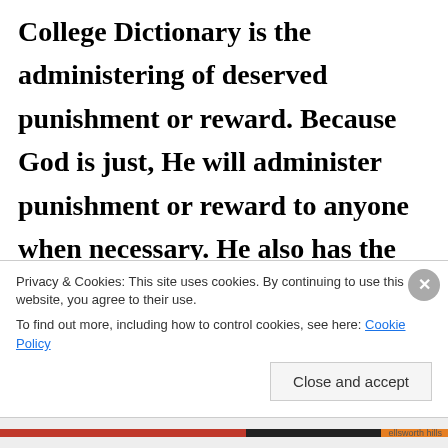College Dictionary is the administering of deserved punishment or reward. Because God is just, He will administer punishment or reward to anyone when necessary. He also has the absolute authority to administer this justice how He deems necessary. God knows what
Privacy & Cookies: This site uses cookies. By continuing to use this website, you agree to their use.
To find out more, including how to control cookies, see here: Cookie Policy
Close and accept